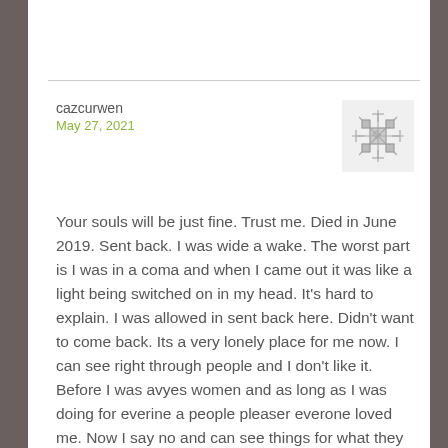cazcurwen
May 27, 2021
[Figure (illustration): Avatar/profile image with a snowflake-like geometric pattern in gray on a white background]
Your souls will be just fine. Trust me. Died in June 2019. Sent back. I was wide a wake. The worst part is I was in a coma and when I came out it was like a light being switched on in my head. It's hard to explain. I was allowed in sent back here. Didn't want to come back. Its a very lonely place for me now. I can see right through people and I don't like it. Before I was avyes women and as long as I was doing for everine a people pleaser everone loved me. Now I say no and can see things for what they really are. No one really wants to speak to me. That's fine. They will